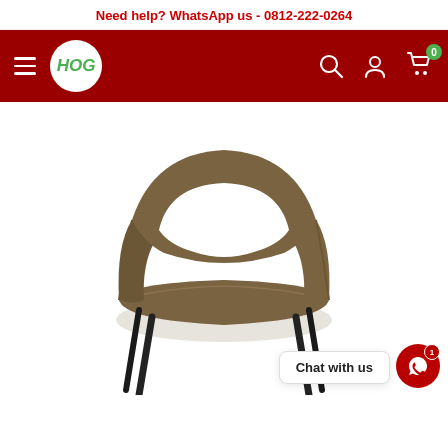Need help? WhatsApp us - 0812-222-0264
[Figure (screenshot): HOG store navigation bar with hamburger menu, HOG logo in white circle, search icon, user account icon, and cart icon with 0 badge on dark red background]
[Figure (photo): Modern dining chair with olive/khaki brown fabric upholstery, curved open backrest, and black metal legs, shown on white background]
Chat with us